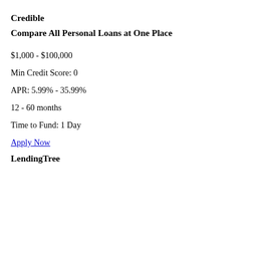Credible
Compare All Personal Loans at One Place
$1,000 - $100,000
Min Credit Score: 0
APR: 5.99% - 35.99%
12 - 60 months
Time to Fund: 1 Day
Apply Now
LendingTree